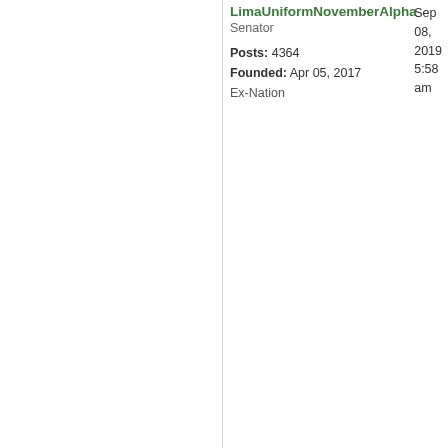LimaUniformNovemberAlpha
Senator
Posts: 4364
Founded: Apr 05, 2017
Ex-Nation
Sep 08, 2019 5:58 am